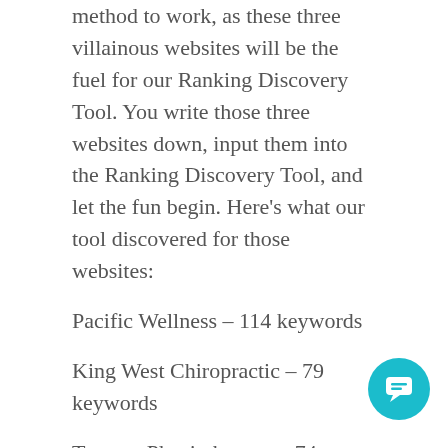method to work, as these three villainous websites will be the fuel for our Ranking Discovery Tool. You write those three websites down, input them into the Ranking Discovery Tool, and let the fun begin. Here's what our tool discovered for those websites:
Pacific Wellness – 114 keywords
King West Chiropractic – 79 keywords
Toronto Physiotherapy – 74 keywords
Not only did we easily discover a bunch of relevant keywords that these websites are currently successfully promoting in this niche, but we can also see that with some tender SEO love, we can pop into this niche and